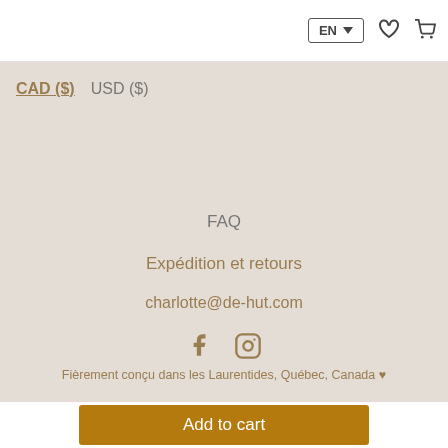EN ▼ [heart icon] [cart icon]
CAD ($)   USD ($)
FAQ
Expédition et retours
charlotte@de-hut.com
[Figure (other): Facebook and Instagram social media icons]
Fièrement conçu dans les Laurentides, Québec, Canada ♥
Add to cart